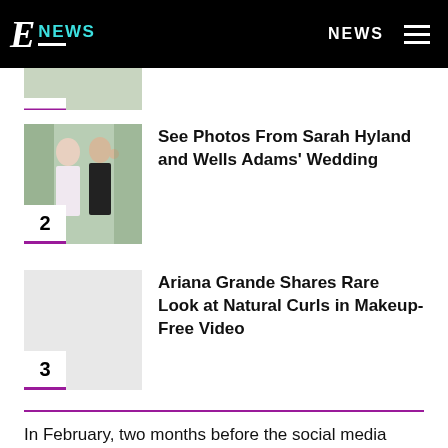E NEWS  |  NEWS
[Figure (photo): Partial thumbnail of a news item at top, with number badge (cut off)]
[Figure (photo): Wedding photo of Sarah Hyland and Wells Adams waving at camera, number badge 2]
See Photos From Sarah Hyland and Wells Adams' Wedding
[Figure (photo): Light gray placeholder thumbnail, number badge 3]
Ariana Grande Shares Rare Look at Natural Curls in Makeup-Free Video
In February, two months before the social media exchange, Mayer and Aniston were sighted at the Hollywood...